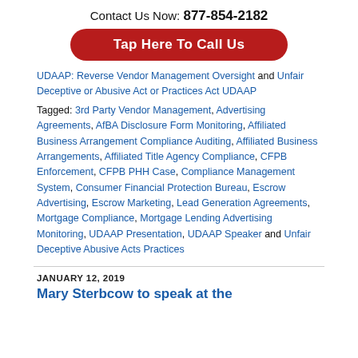Contact Us Now: 877-854-2182
[Figure (other): Red rounded button with text 'Tap Here To Call Us']
UDAAP: Reverse Vendor Management Oversight and Unfair Deceptive or Abusive Act or Practices Act UDAAP
Tagged: 3rd Party Vendor Management, Advertising Agreements, AfBA Disclosure Form Monitoring, Affiliated Business Arrangement Compliance Auditing, Affiliated Business Arrangements, Affiliated Title Agency Compliance, CFPB Enforcement, CFPB PHH Case, Compliance Management System, Consumer Financial Protection Bureau, Escrow Advertising, Escrow Marketing, Lead Generation Agreements, Mortgage Compliance, Mortgage Lending Advertising Monitoring, UDAAP Presentation, UDAAP Speaker and Unfair Deceptive Abusive Acts Practices
JANUARY 12, 2019
Mary Sterbcow to speak at the